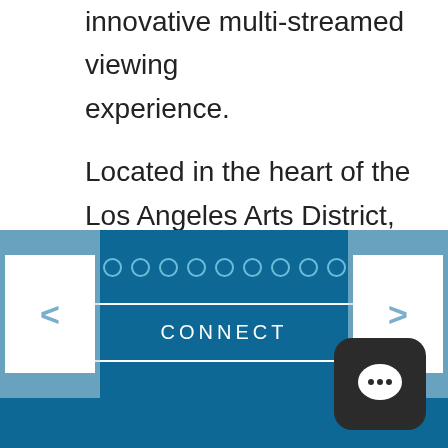innovative multi-streamed viewing experience.
Located in the heart of the Los Angeles Arts District, and taking place across multiple stages within the warehouse compound, Wonderland brings TV out of the studio and into a
[Figure (infographic): Blue navigation panel with left and right arrow buttons, a row of circular dots (pagination indicators), a CONNECT button with white border, and a chat bubble icon in the bottom right corner.]